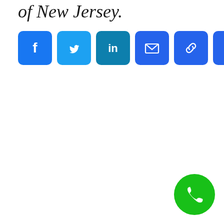of New Jersey.
[Figure (infographic): Row of social sharing buttons: Facebook (blue), Twitter (light blue), LinkedIn (teal-blue), Email (blue envelope), Link/Copy (blue chain), Print (blue printer), More/Plus (blue plus sign)]
[Figure (infographic): Green circular phone/call button with white phone handset icon, positioned bottom-right corner]